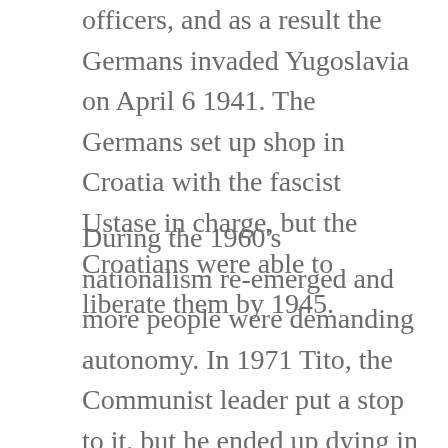officers, and as a result the Germans invaded Yugoslavia on April 6 1941. The Germans set up shop in Croatia with the fascist Ustase in charge, but the Croatians were able to liberate them by 1945.
During the 1960's nationalism re-emerged and more people were demanding autonomy. In 1971 Tito, the Communist leader put a stop to it, but he ended up dying in 1980. Communism collapsed in most of Eastern Europe in 1989, during the same time frame that many non-Communist organizations were being setup. Finally, in 1991–1992…